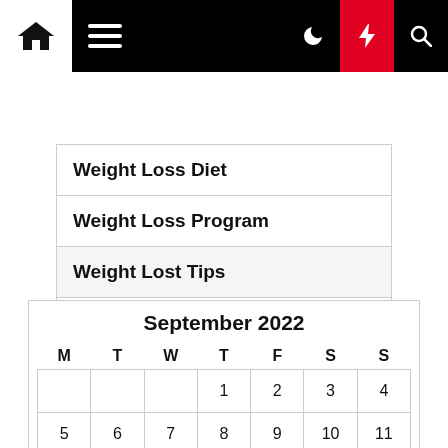Navigation bar with home, menu, dark mode, lightning, and search icons
Weight Loss Diet
Weight Loss Program
Weight Lost Tips
Womens Health
September 2022
| M | T | W | T | F | S | S |
| --- | --- | --- | --- | --- | --- | --- |
|  |  |  | 1 | 2 | 3 | 4 |
| 5 | 6 | 7 | 8 | 9 | 10 | 11 |
| 12 | 13 | 14 | 15 | 16 | 17 | 18 |